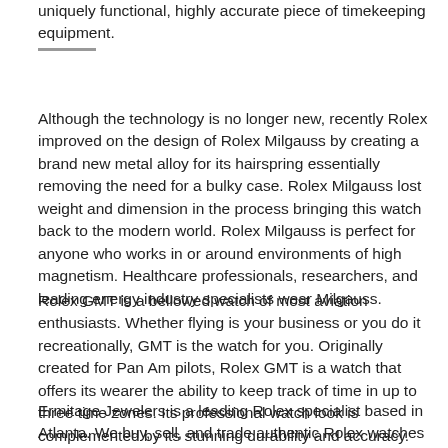uniquely functional, highly accurate piece of timekeeping equipment.
Although the technology is no longer new, recently Rolex improved on the design of Rolex Milgauss by creating a brand new metal alloy for its hairspring essentially removing the need for a bulky case. Rolex Milgauss lost weight and dimension in the process bringing this watch back to the modern world. Rolex Milgauss is perfect for anyone who works in or around environments of high magnetism. Healthcare professionals, researchers, and leading energy industry specialists wear Milgauss.
Rolex GMT is a bellowed watch of most aviation enthusiasts. Whether flying is your business or you do it recreationally, GMT is the watch for you. Originally created for Pan Am pilots, Rolex GMT is a watch that offers its wearer the ability to keep track of time in up to three time zones. Its professional watch look is complemented by its stunning durability and accuracy. This is the perfect, versatile timepiece.
Ermitage Jewelers is a leading Rolex specialist based in Atlanta. We buy, sell, and trade authentic Rolex watches at unbeatable